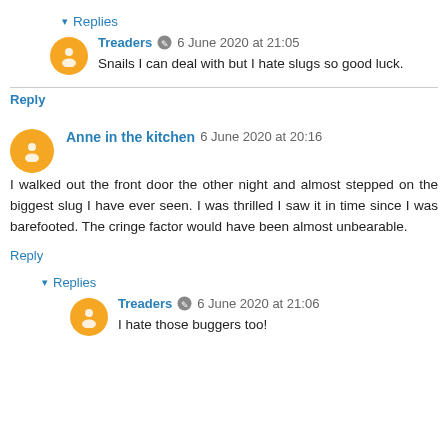▾ Replies
Treaders  6 June 2020 at 21:05
Snails I can deal with but I hate slugs so good luck.
Reply
Anne in the kitchen  6 June 2020 at 20:16
I walked out the front door the other night and almost stepped on the biggest slug I have ever seen. I was thrilled I saw it in time since I was barefooted. The cringe factor would have been almost unbearable.
Reply
▾ Replies
Treaders  6 June 2020 at 21:06
I hate those buggers too!